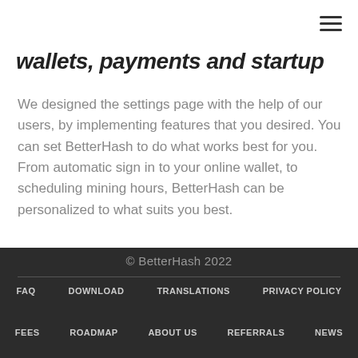wallets, payments and startup
We designed the settings page with the help of our users, by implementing features that you desired. You can set BetterHash to do what works best for you. From automatic sign in to your online wallet, to scheduling mining hours, BetterHash can be personalized to what suits you best.
© BetterHash 2022
FAQ  DOWNLOAD  TRANSLATIONS  PRIVACY POLICY
FEES  ROADMAP  ABOUT US  REFERRALS  NEWS